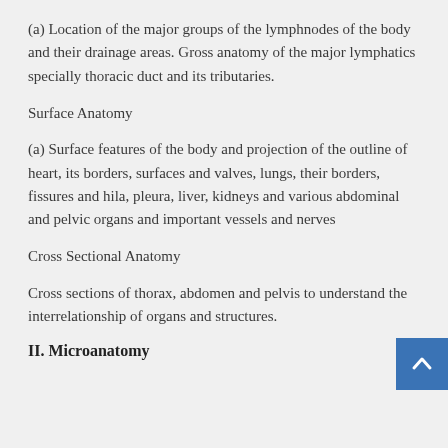(a) Location of the major groups of the lymphnodes of the body and their drainage areas. Gross anatomy of the major lymphatics specially thoracic duct and its tributaries.
Surface Anatomy
(a) Surface features of the body and projection of the outline of heart, its borders, surfaces and valves, lungs, their borders, fissures and hila, pleura, liver, kidneys and various abdominal and pelvic organs and important vessels and nerves
Cross Sectional Anatomy
Cross sections of thorax, abdomen and pelvis to understand the interrelationship of organs and structures.
II. Microanatomy